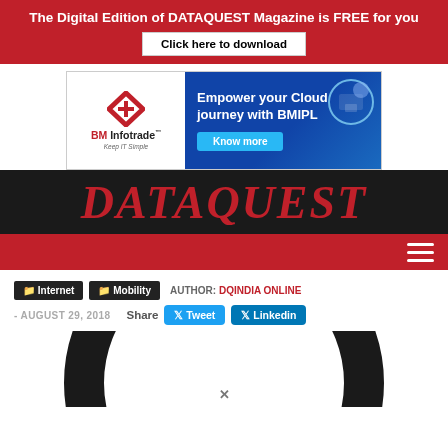The Digital Edition of DATAQUEST Magazine is FREE for you
Click here to download
[Figure (illustration): BM Infotrade advertisement banner: 'Empower your Cloud journey with BMIPL' with Know more button and cloud technology illustration]
DATAQUEST
Internet  Mobility  AUTHOR: DQINDIA ONLINE  - AUGUST 29, 2018  Share  Tweet  Linkedin
[Figure (photo): Article hero image showing a circular arc shape in dark color with an X close button]